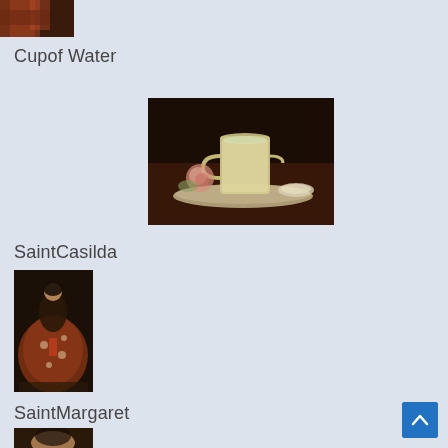[Figure (photo): Partial view of a classical painting showing red/brown drapery fabric, cropped at top-left corner]
Cupof Water
[Figure (photo): Classical still-life painting of a white ceramic cup on a silver plate with a pink rose, dark background — Cup of Water]
SaintCasilda
[Figure (photo): Classical painting of Saint Casilda in ornate red and brown dress, standing figure]
SaintMargaret
[Figure (photo): Partial view of a classical painting, cropped at bottom — Saint Margaret, showing top of head]